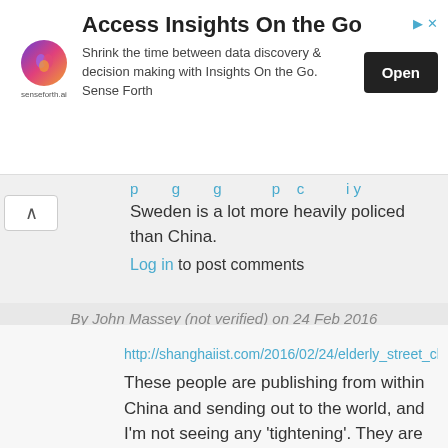[Figure (other): Advertisement banner for senseforth.ai with title 'Access Insights On the Go', description text, and Open button]
Sweden is a lot more heavily policed than China.
Log in to post comments
By John Massey (not verified) on 24 Feb 2016
#permalink
http://shanghaiist.com/2016/02/24/elderly_street_cleaner_pr
These people are publishing from within China and sending out to the world, and I'm not seeing any 'tightening'. They are frequently critical of various authorities there, seemingly with impunity.